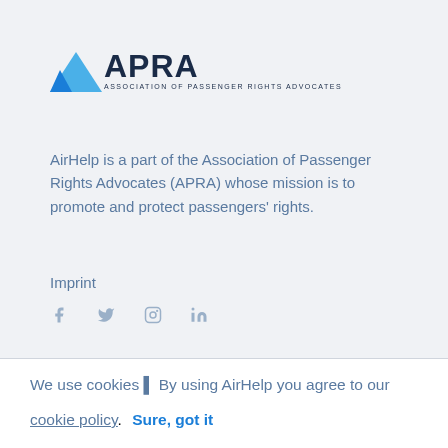[Figure (logo): APRA - Association of Passenger Rights Advocates logo with blue triangle icon and bold dark text]
AirHelp is a part of the Association of Passenger Rights Advocates (APRA) whose mission is to promote and protect passengers' rights.
Imprint
[Figure (other): Social media icons: Facebook, Twitter, Instagram, LinkedIn]
We use cookies | By using AirHelp you agree to our cookie policy.  Sure, got it